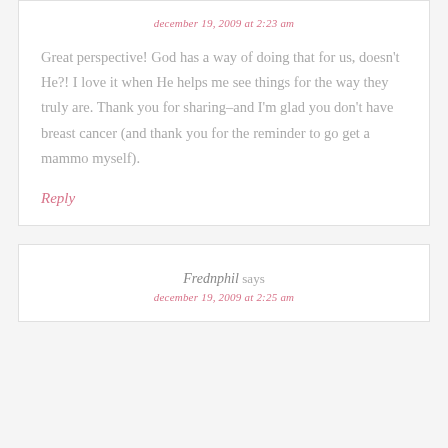december 19, 2009 at 2:23 am
Great perspective! God has a way of doing that for us, doesn't He?! I love it when He helps me see things for the way they truly are. Thank you for sharing–and I'm glad you don't have breast cancer (and thank you for the reminder to go get a mammo myself).
Reply
Frednphil says
december 19, 2009 at 2:25 am